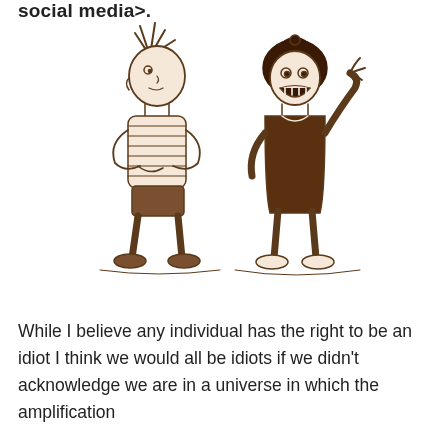social media>.
[Figure (illustration): Cartoon sketch of two children: on the left, a boy with spiky hair in a striped shirt standing with arms crossed looking confused or uncertain; on the right, a girl in a dark dress with her mouth open wide and one arm raised, appearing to shout or exclaim. Drawn in sepia/brown tones in the style of Calvin and Hobbes characters.]
While I believe any individual has the right to be an idiot I think we would all be idiots if we didn't acknowledge we are in a universe in which the amplification